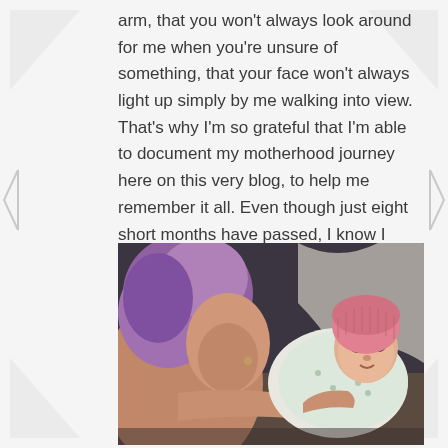arm, that you won't always look around for me when you're unsure of something, that your face won't always light up simply by me walking into view. That's why I'm so grateful that I'm able to document my motherhood journey here on this very blog, to help me remember it all. Even though just eight short months have passed, I know I have already forgotten so much. I strain to recall the sound of your first fierce little cry, the way I held my own breath until I heard it.
[Figure (photo): A woman with purple/pink hair looking down at a newborn baby wearing a pink knit hat and a white patterned swaddle blanket, taken in what appears to be a hospital room.]